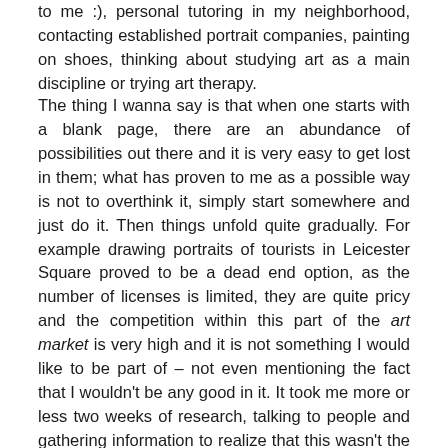to me :), personal tutoring in my neighborhood, contacting established portrait companies, painting on shoes, thinking about studying art as a main discipline or trying art therapy.
The thing I wanna say is that when one starts with a blank page, there are an abundance of possibilities out there and it is very easy to get lost in them; what has proven to me as a possible way is not to overthink it, simply start somewhere and just do it. Then things unfold quite gradually. For example drawing portraits of tourists in Leicester Square proved to be a dead end option, as the number of licenses is limited, they are quite pricy and the competition within this part of the art market is very high and it is not something I would like to be part of – not even mentioning the fact that I wouldn't be any good in it. It took me more or less two weeks of research, talking to people and gathering information to realize that this wasn't the way I wanted to go; then I could let this option go and concentrate on something else.